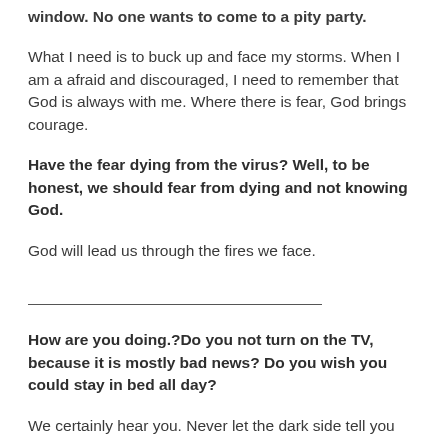window. No one wants to come to a pity party.
What I need is to buck up and face my storms. When I am a afraid and discouraged, I need to remember that God is always with me. Where there is fear, God brings courage.
Have the fear dying from the virus? Well, to be honest, we should fear from dying and not knowing God.
God will lead us through the fires we face.
How are you doing.?Do you not turn on the TV, because it is mostly bad news? Do you wish you could stay in bed all day?
We certainly hear you. Never let the dark side tell you